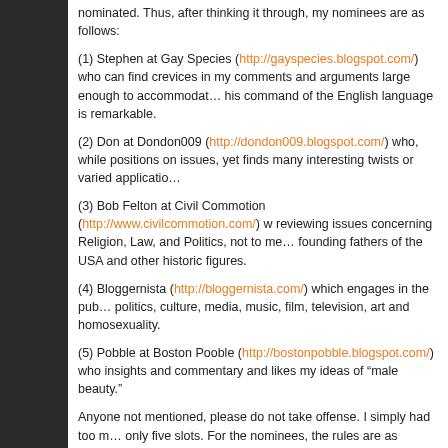nominated. Thus, after thinking it through, my nominees are as follows:
(1) Stephen at Gay Species (http://gayspecies.blogspot.com/) who can find crevices in my comments and arguments large enough to accommodate... his command of the English language is remarkable.
(2) Don at Dondon009 (http://dondon009.blogspot.com/) who, while... positions on issues, yet finds many interesting twists or varied applications...
(3) Bob Felton at Civil Commotion (http://www.civilcommotion.com/) w... reviewing issues concerning Religion, Law, and Politics, not to men... founding fathers of the USA and other historic figures.
(4) Bloggernista (http://bloggernista.com/) which engages in the pub... politics, culture, media, music, film, television, art and homosexuality.
(5) Pobble at Boston Pooble (http://bostonpobble.blogspot.com/) who... insights and commentary and likes my ideas of “male beauty.”
Anyone not mentioned, please do not take offense. I simply had too m... only five slots. For the nominees, the rules are as follows:
1. If, and only if, you get tagged, write a post with links to 5 blogs that m...
2. Link to this post so that people can easily find the exact origin of the...
3. Optional: Proudly display the ‘Thinking Blogger Award’ with a link to t...
(here is an alternative silver version if gold doesn’t fit your blog).